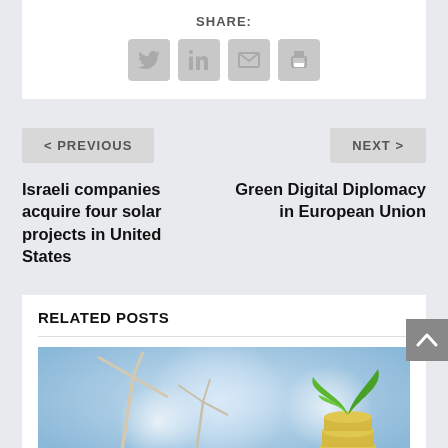SHARE:
[Figure (other): Social share icons: Twitter, LinkedIn, Email, Print]
< PREVIOUS
NEXT >
Israeli companies acquire four solar projects in United States
Green Digital Diplomacy in European Union
RELATED POSTS
[Figure (photo): Photo of wind turbines and a plant growing from coins on a blue bokeh background]